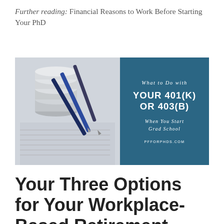Further reading: Financial Reasons to Work Before Starting Your PhD
[Figure (photo): Composite image: left side shows stacked coins and pens on financial documents (photo); right side is a teal/blue panel with text reading 'What to Do with YOUR 401(K) OR 403(B) When You Start Grad School' and URL pfforphds.com]
Your Three Options for Your Workplace-Based Retirement